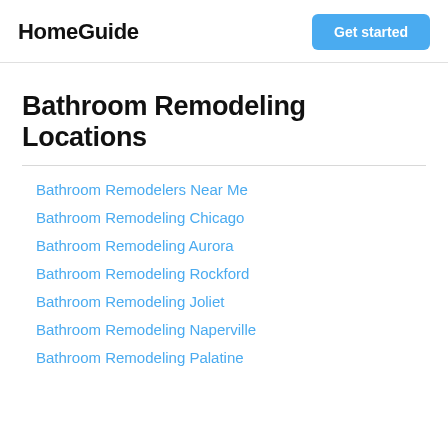HomeGuide | Get started
Bathroom Remodeling Locations
Bathroom Remodelers Near Me
Bathroom Remodeling Chicago
Bathroom Remodeling Aurora
Bathroom Remodeling Rockford
Bathroom Remodeling Joliet
Bathroom Remodeling Naperville
Bathroom Remodeling Palatine